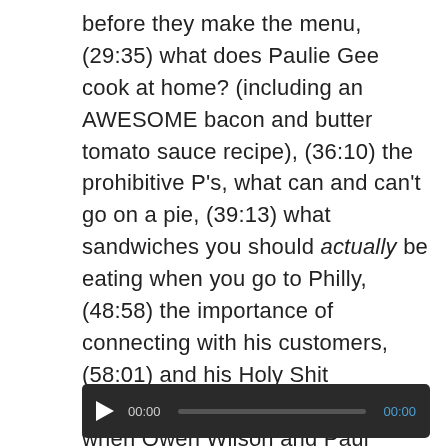before they make the menu, (29:35) what does Paulie Gee cook at home? (including an AWESOME bacon and butter tomato sauce recipe), (36:10) the prohibitive P's, what can and can't go on a pie, (39:13) what sandwiches you should actually be eating when you go to Philly, (48:58) the importance of connecting with his customers, (58:01) and his Holy Shit moments, including those times when Owen Wilson and Paul Giamatti came in.
[Figure (other): Audio player bar with play button, current time 00:00, progress bar, and total time 00:00 on dark background]